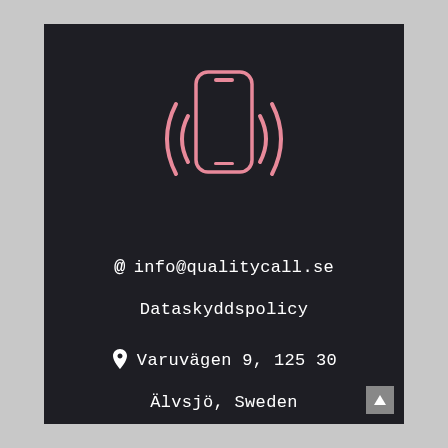[Figure (illustration): Pink outline icon of a smartphone with signal/vibration waves on both sides, on dark background]
@ info@qualitycall.se
Dataskyddspolicy
📍 Varuvägen 9, 125 30
Älvsjö, Sweden